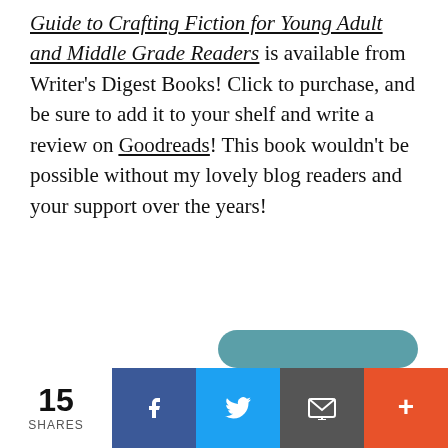Guide to Crafting Fiction for Young Adult and Middle Grade Readers is available from Writer's Digest Books! Click to purchase, and be sure to add it to your shelf and write a review on Goodreads! This book wouldn't be possible without my lovely blog readers and your support over the years!
15 SHARES | Facebook | Twitter | Email | More